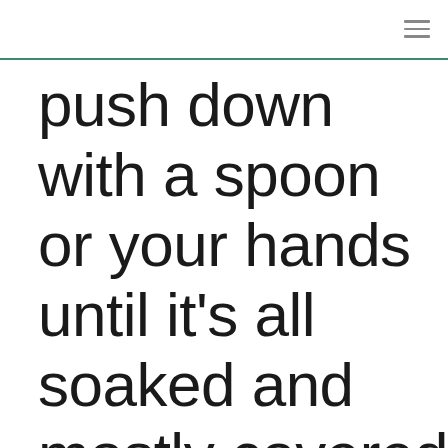push down with a spoon or your hands until it’s all soaked and mostly covered